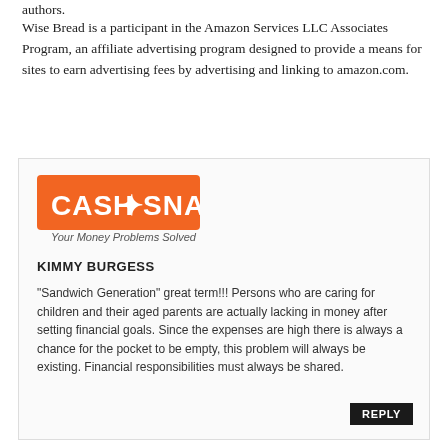authors.
Wise Bread is a participant in the Amazon Services LLC Associates Program, an affiliate advertising program designed to provide a means for sites to earn advertising fees by advertising and linking to amazon.com.
[Figure (logo): Cash N Snap logo - orange rectangle with white text 'CASH N SNAP' and tagline 'Your Money Problems Solved']
KIMMY BURGESS
"Sandwich Generation" great term!!! Persons who are caring for children and their aged parents are actually lacking in money after setting financial goals. Since the expenses are high there is always a chance for the pocket to be empty, this problem will always be existing. Financial responsibilities must always be shared.